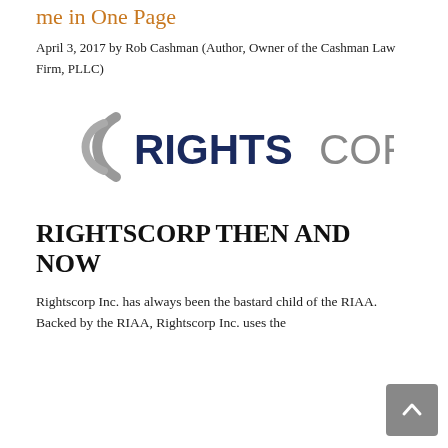me in One Page
April 3, 2017 by Rob Cashman (Author, Owner of the Cashman Law Firm, PLLC)
[Figure (logo): RightsCorp logo — two concentric C-shaped arcs in grey on the left, followed by 'RIGHTS' in dark navy bold sans-serif and 'CORP' in grey regular sans-serif.]
RIGHTSCORP THEN AND NOW
Rightscorp Inc. has always been the bastard child of the RIAA. Backed by the RIAA, Rightscorp Inc. uses the